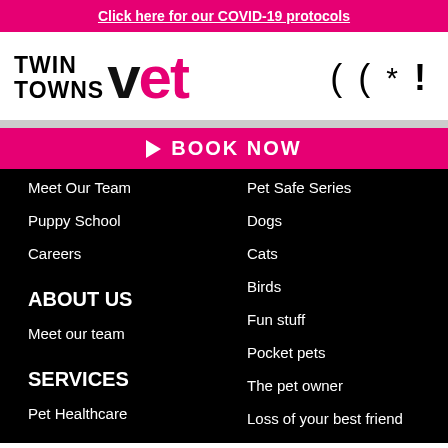Click here for our COVID-19 protocols
[Figure (logo): Twin Towns Vet logo with social media icons]
BOOK NOW
Meet Our Team
Puppy School
Careers
ABOUT US
Meet our team
SERVICES
Pet Healthcare
Pet Safe Series
Dogs
Cats
Birds
Fun stuff
Pocket pets
The pet owner
Loss of your best friend